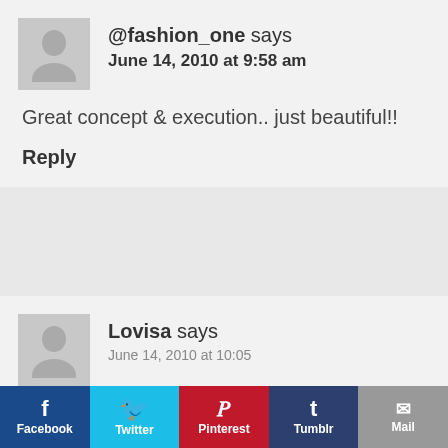@fashion_one says
June 14, 2010 at 9:58 am
Great concept & execution.. just beautiful!!
Reply
Lovisa says
Facebook Twitter Pinterest Tumblr Mail